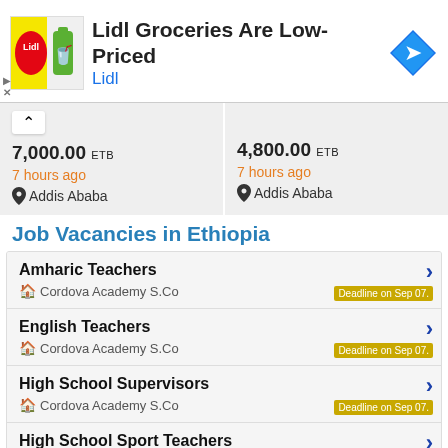[Figure (screenshot): Lidl advertisement banner with logo, text 'Lidl Groceries Are Low-Priced', subtitle 'Lidl', and navigation arrow icon]
7,000.00 ETB
7 hours ago
Addis Ababa
4,800.00 ETB
7 hours ago
Addis Ababa
Job Vacancies in Ethiopia
Amharic Teachers — Cordova Academy S.Co — Deadline on Sep 07.
English Teachers — Cordova Academy S.Co — Deadline on Sep 07.
High School Supervisors — Cordova Academy S.Co — Deadline on Sep 07.
High School Sport Teachers